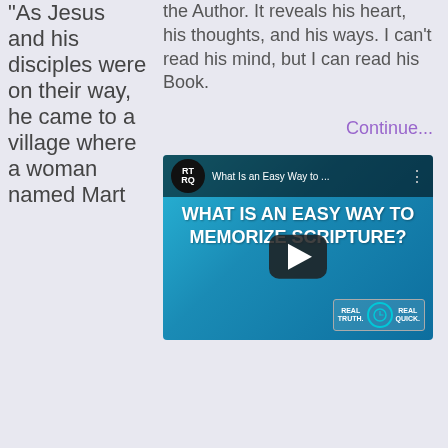“As Jesus and his disciples were on their way, he came to a village where a woman named Mart
the Author. It reveals his heart, his thoughts, and his ways. I can’t read his mind, but I can read his Book.
Continue...
[Figure (screenshot): YouTube video thumbnail showing 'What Is an Easy Way to Memorize Scripture?' with RTRQ branding, play button, and cyan/blue gradient background.]